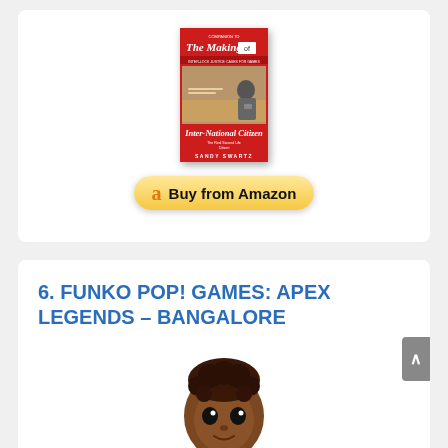[Figure (illustration): Book cover for 'The Making of Inter-National Citizen' by Sandy Swartz, red cover with photo of person at desk]
[Figure (other): Amazon 'Buy from Amazon' button with Amazon logo]
6. FUNKO POP! GAMES: APEX LEGENDS – BANGALORE
[Figure (illustration): Funko Pop figure of Bangalore from Apex Legends, showing the head/top portion of the vinyl figure]